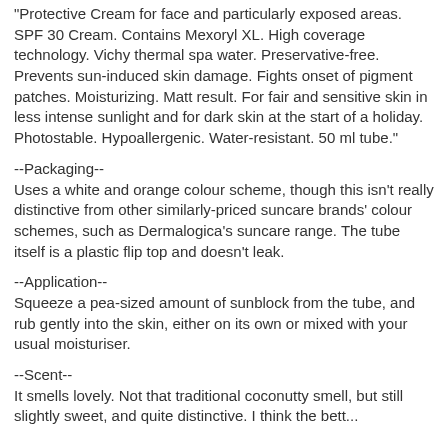"Protective Cream for face and particularly exposed areas. SPF 30 Cream. Contains Mexoryl XL. High coverage technology. Vichy thermal spa water. Preservative-free. Prevents sun-induced skin damage. Fights onset of pigment patches. Moisturizing. Matt result. For fair and sensitive skin in less intense sunlight and for dark skin at the start of a holiday. Photostable. Hypoallergenic. Water-resistant. 50 ml tube."
--Packaging--
Uses a white and orange colour scheme, though this isn't really distinctive from other similarly-priced suncare brands' colour schemes, such as Dermalogica's suncare range. The tube itself is a plastic flip top and doesn't leak.
--Application--
Squeeze a pea-sized amount of sunblock from the tube, and rub gently into the skin, either on its own or mixed with your usual moisturiser.
--Scent--
It smells lovely. Not that traditional coconutty smell, but still slightly sweet, and quite distinctive. I think the better...